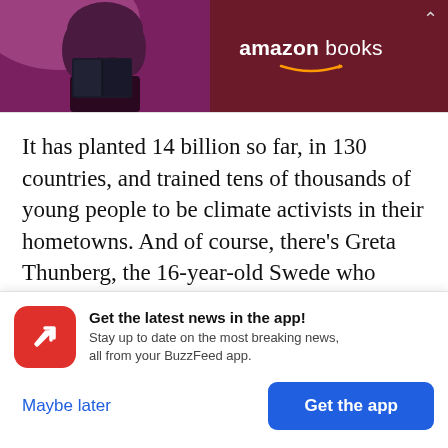[Figure (photo): Amazon Books advertisement banner with a person holding a book, on a dark red/purple background, showing the Amazon Books logo in white text with the Amazon smile logo.]
It has planted 14 billion so far, in 130 countries, and trained tens of thousands of young people to be climate activists in their hometowns. And of course, there's Greta Thunberg, the 16-year-old Swede who single-handedly started the global school strike for climate movement. People teased her for sitting alone outside the Swedish Parliament, arguing it was a waste of time to study for the future if there
Get the latest news in the app! Stay up to date on the most breaking news, all from your BuzzFeed app.
Maybe later
Get the app